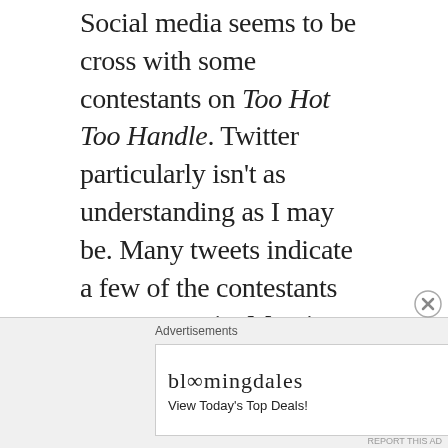Social media seems to be cross with some contestants on Too Hot Too Handle. Twitter particularly isn't as understanding as I may be. Many tweets indicate a few of the contestants are egocentric. My view is once someone refers to themselves as a stallion repeatedly, they're most likely egocentric (except Megan Thee Stallion of course) The question remains, are these ten singles willing to overcome personal issues in order to find happiness? Let's see if primal instinct gets in the way of a real connection and the prize money.
[Figure (other): Bloomingdales advertisement banner with logo, 'View Today's Top Deals!' text, woman in large hat, and 'SHOP NOW >' button]